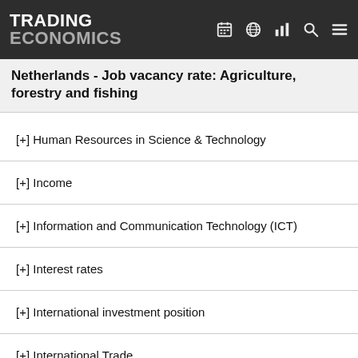TRADING ECONOMICS
Netherlands - Job vacancy rate: Agriculture, forestry and fishing
[+] Human Resources in Science & Technology
[+] Income
[+] Information and Communication Technology (ICT)
[+] Interest rates
[+] International investment position
[+] International Trade
[+] Labour
[+] Livestock and meat
[+] Macroeconomic imbalance procedure indicators